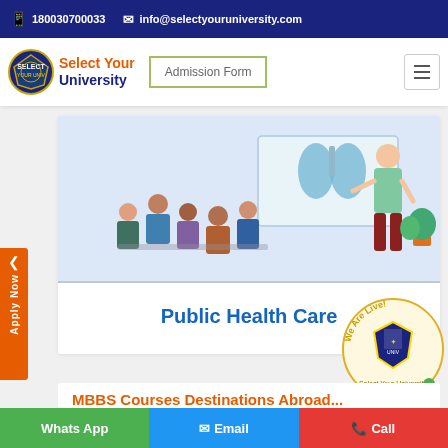180030700033  info@selectyouruniversity.com
[Figure (logo): Select Your University logo with crest and text]
Admission Form
[Figure (illustration): Illustration of students in a classroom with a teacher presenting lungs diagram on a board, with a plant on the side]
Public Health Care
[Figure (logo): We Are Live! badge with Select Your University crest]
MBBS Courses Destinations Abroad
Whats App  Email  Call